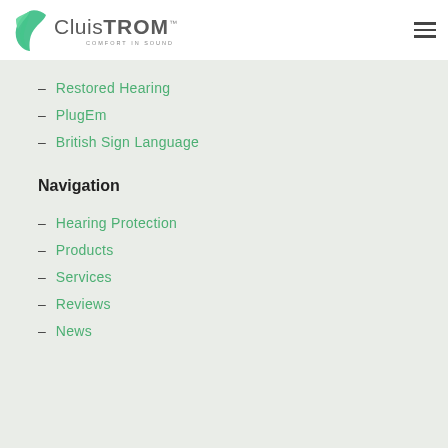Cluistrom – Comfort in Sound
– Restored Hearing
– PlugEm
– British Sign Language
Navigation
– Hearing Protection
– Products
– Services
– Reviews
– News